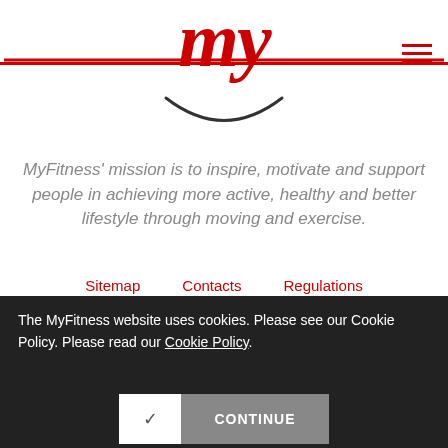[Figure (logo): MyFitness logo — stylized red cursive 'my' with a red horizontal line and a dark grey underline/smile arc below]
MyFitness' mission is to inspire, motivate and support people in achieving more active, healthy and better lifestyle through moving and exercise.
Sitemap   Contacts   Regulations
The MyFitness website uses cookies. Please see our Cookie Policy. Please read our Cookie Policy.
✓  CONTINUE